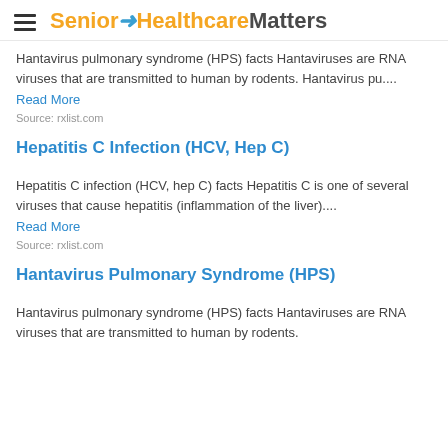Senior Healthcare Matters
Hantavirus pulmonary syndrome (HPS) facts Hantaviruses are RNA viruses that are transmitted to human by rodents. Hantavirus pu....
Read More
Source: rxlist.com
Hepatitis C Infection (HCV, Hep C)
Hepatitis C infection (HCV, hep C) facts Hepatitis C is one of several viruses that cause hepatitis (inflammation of the liver)....
Read More
Source: rxlist.com
Hantavirus Pulmonary Syndrome (HPS)
Hantavirus pulmonary syndrome (HPS) facts Hantaviruses are RNA viruses that are transmitted to human by rodents.